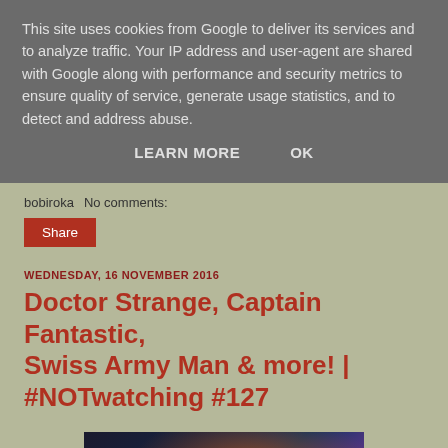This site uses cookies from Google to deliver its services and to analyze traffic. Your IP address and user-agent are shared with Google along with performance and security metrics to ensure quality of service, generate usage statistics, and to detect and address abuse.
LEARN MORE   OK
bobiroka   No comments:
Share
WEDNESDAY, 16 NOVEMBER 2016
Doctor Strange, Captain Fantastic, Swiss Army Man & more! | #NOTwatching #127
[Figure (photo): Photo of a person, presumably Doctor Strange character, with dramatic lighting and dark background]